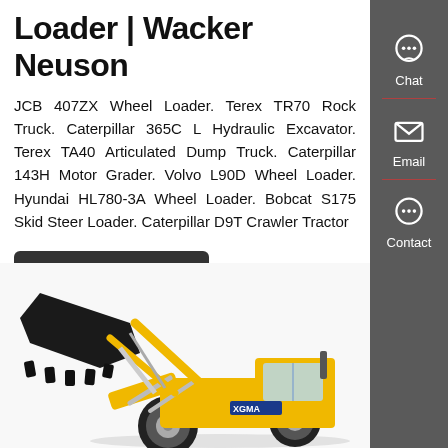Loader | Wacker Neuson
JCB 407ZX Wheel Loader. Terex TR70 Rock Truck. Caterpillar 365C L Hydraulic Excavator. Terex TA40 Articulated Dump Truck. Caterpillar 143H Motor Grader. Volvo L90D Wheel Loader. Hyundai HL780-3A Wheel Loader. Bobcat S175 Skid Steer Loader. Caterpillar D9T Crawler Tractor
Get a Quote
[Figure (photo): Yellow XGMA wheel loader with large black bucket raised, photographed at an angle showing the front and cab of the machine.]